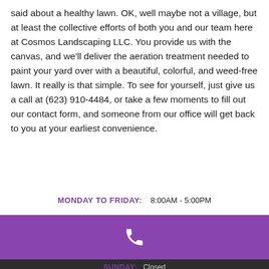said about a healthy lawn. OK, well maybe not a village, but at least the collective efforts of both you and our team here at Cosmos Landscaping LLC. You provide us with the canvas, and we'll deliver the aeration treatment needed to paint your yard over with a beautiful, colorful, and weed-free lawn. It really is that simple. To see for yourself, just give us a call at (623) 910-4484, or take a few moments to fill out our contact form, and someone from our office will get back to you at your earliest convenience.
MONDAY TO FRIDAY:  8:00AM - 5:00PM
[Figure (other): Purple background bar with a white phone icon in the center]
SUNDAY: Closed
(623) 910-4484